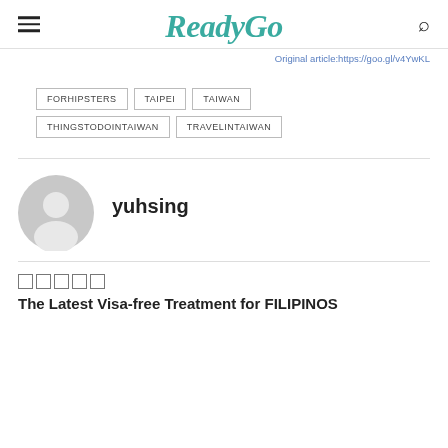ReadyGo
Original article:https://goo.gl/v4YwKL
FORHIPSTERS
TAIPEI
TAIWAN
THINGSTODOINTAIWAN
TRAVELINTAIWAN
yuhsing
The Latest Visa-free Treatment for FILIPINOS